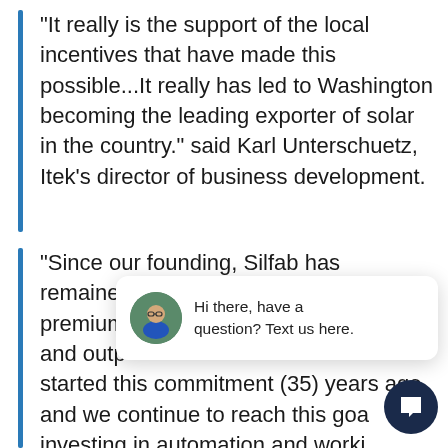“It really is the support of the local incentives that have made this possible…It really has led to Washington becoming the leading exporter of solar in the country.” said Karl Unterschuetz, Itek’s director of business development.
“Since our founding, Silfab has remained [partially obscured] premium [partially obscured] and outp[ut...] started this commitment (35) years ago, and we continue to reach this goa[l] investing in automation and worki[ng] with best-in-class technology and other
[Figure (other): Website chat widget overlay showing avatar of a person in blue shirt with message 'Hi there, have a question? Text us here.' and a close button. A dark circular chat launcher button is also visible.]